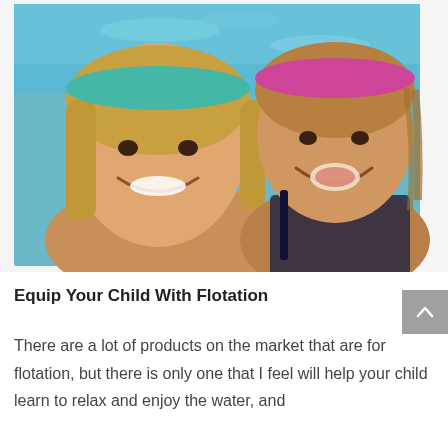[Figure (photo): A smiling woman wearing a teal headband and a young girl wearing a pink headband, both in a swimming pool. The woman is on the left and the child is on the right, both wet and smiling at the camera.]
Equip Your Child With Flotation
There are a lot of products on the market that are for flotation, but there is only one that I feel will help your child learn to relax and enjoy the water, and